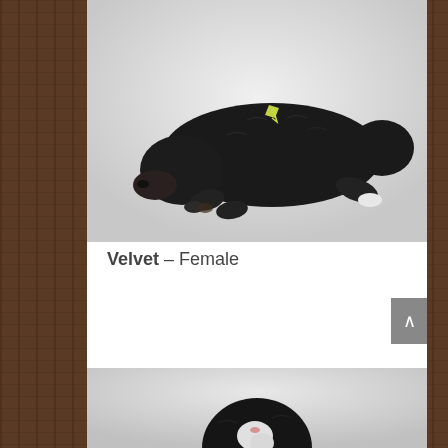[Figure (photo): Newborn black puppy lying on a white background, with a yellow/green identification ribbon tied on its back, viewed from the side showing paws and face.]
Velvet – Female
[Figure (photo): Partial view of another newborn black and white puppy, showing the top of its head and upper body on a light background, partially cut off at bottom of page.]